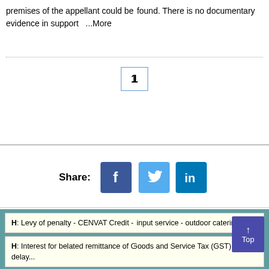premises of the appellant could be found. There is no documentary evidence in support ...More
1
[Figure (infographic): Social share buttons for Facebook, Twitter, and LinkedIn with Share: label]
H: Levy of penalty - CENVAT Credit - input service - outdoor catering ser...
H: Interest for belated remittance of Goods and Service Tax (GST) - delay...
N: Seeks to amend Notification S.O. 1911(E),